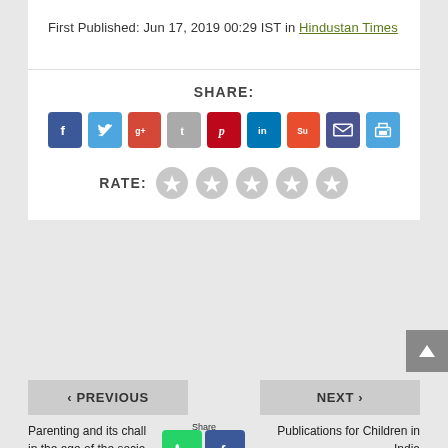First Published: Jun 17, 2019 00:29 IST in Hindustan Times
SHARE:
[Figure (infographic): Social share buttons: Facebook, Twitter, Google+, Tumblr, Pinterest, LinkedIn, StumbleUpon, Email, Print]
RATE:
[Figure (infographic): Five grey star rating icons]
< PREVIOUS
NEXT >
Parenting and its challenges in the age of the social media
Publications for Children in India